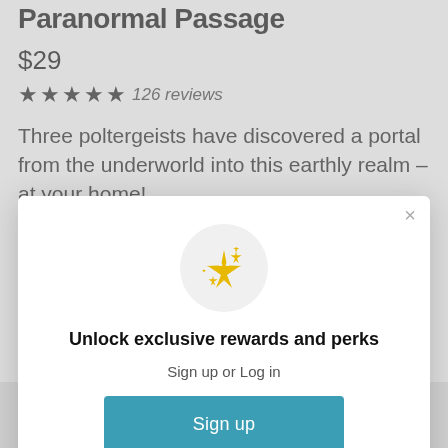Paranormal Passage
$29
★★★★★ 126 reviews
Three poltergeists have discovered a portal from the underworld into this earthly realm – at your home!
[Figure (illustration): Modal dialog with sparkle icon, headline 'Unlock exclusive rewards and perks', sign up or log in text, Sign up button, and 'Already have an account? Sign in' link]
Unlock exclusive rewards and perks
Sign up or Log in
Sign up
Already have an account? Sign in